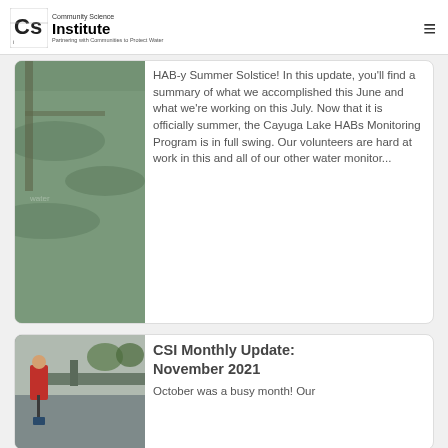Community Science Institute — Partnering with Communities to Protect Water
[Figure (photo): Aerial or close-up photo of green-tinted water surface near a dock or pier, showing algae bloom.]
HAB-y Summer Solstice! In this update, you'll find a summary of what we accomplished this June and what we're working on this July. Now that it is officially summer, the Cayuga Lake HABs Monitoring Program is in full swing. Our volunteers are hard at work in this and all of our other water monitor...
[Figure (photo): Person in red jacket standing near a bridge, holding a water sampling device over a waterway.]
CSI Monthly Update: November 2021
October was a busy month! Our